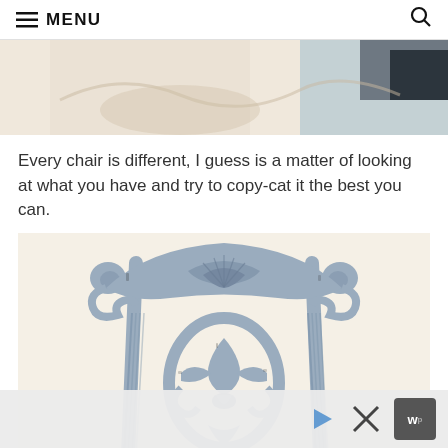≡ MENU
[Figure (photo): Partial top image showing decorative items on a light background, cropped at top of visible area]
Every chair is different, I guess is a matter of looking at what you have and try to copy-cat it the best you can.
[Figure (photo): A decorative vintage chair back painted in light grey/blue chalk paint, featuring ornate carved scrollwork, shell motifs, and fleur-de-lis style center detail, photographed against a cream background]